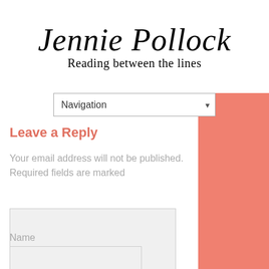[Figure (logo): Jennie Pollock blog logo: cursive script title 'Jennie Pollock' above subtitle 'Reading between the lines']
Navigation
Leave a Reply
Your email address will not be published. Required fields are marked
Comment text area (empty)
Name
Name input field (empty)